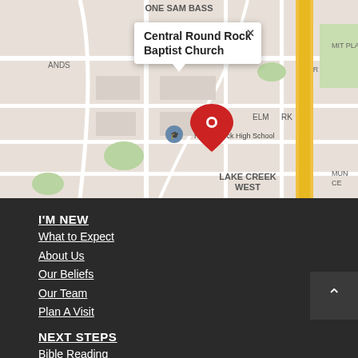[Figure (map): Google Maps screenshot showing Central Round Rock Baptist Church location near Round Rock High School, with neighborhoods labeled: ONE SAM BASS, ANDS, MIT PLAZ, ELM RK, LAKE CREEK WEST, DEEPWOOD, MONT ST, BAHRAM, and landmarks Saint William Catholic Church. A red pin marks the church location. A tooltip reads 'Central Round Rock Baptist Church'.]
I'M NEW
What to Expect
About Us
Our Beliefs
Our Team
Plan A Visit
NEXT STEPS
Bible Reading
Sign up